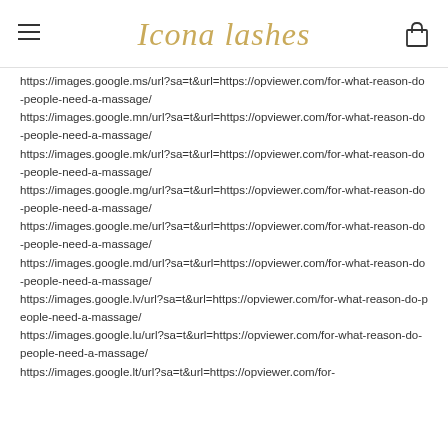Icona lashes
https://images.google.ms/url?sa=t&url=https://opviewer.com/for-what-reason-do-people-need-a-massage/
https://images.google.mn/url?sa=t&url=https://opviewer.com/for-what-reason-do-people-need-a-massage/
https://images.google.mk/url?sa=t&url=https://opviewer.com/for-what-reason-do-people-need-a-massage/
https://images.google.mg/url?sa=t&url=https://opviewer.com/for-what-reason-do-people-need-a-massage/
https://images.google.me/url?sa=t&url=https://opviewer.com/for-what-reason-do-people-need-a-massage/
https://images.google.md/url?sa=t&url=https://opviewer.com/for-what-reason-do-people-need-a-massage/
https://images.google.lv/url?sa=t&url=https://opviewer.com/for-what-reason-do-people-need-a-massage/
https://images.google.lu/url?sa=t&url=https://opviewer.com/for-what-reason-do-people-need-a-massage/
https://images.google.lt/url?sa=t&url=https://opviewer.com/for-